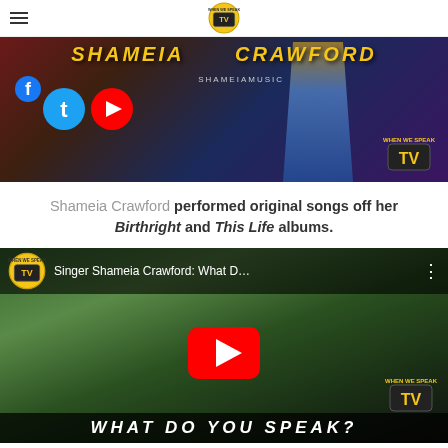When We Speak TV logo and hamburger menu
[Figure (screenshot): Video thumbnail showing Shameia Crawford with social media icons (Facebook, Twitter, YouTube) and SHAMEIA MUSIC text overlay, with When We Speak TV watermark]
Shameia Crawford performed original songs off her Birthright and This Life albums.
[Figure (screenshot): YouTube video embed titled 'Singer Shameia Crawford: What D...' showing a young woman in a park with a YouTube play button overlay and text 'WHAT DO YOU SPEAK?' at bottom]